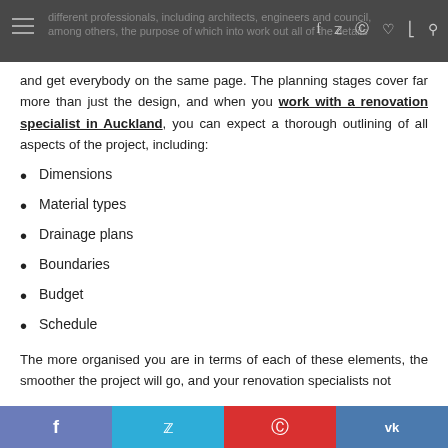different professionals, including architects, engineers and council, among others, the purpose of which into work out all of the details
and get everybody on the same page. The planning stages cover far more than just the design, and when you work with a renovation specialist in Auckland, you can expect a thorough outlining of all aspects of the project, including:
Dimensions
Material types
Drainage plans
Boundaries
Budget
Schedule
The more organised you are in terms of each of these elements, the smoother the project will go, and your renovation specialists not
f  t  p  vk